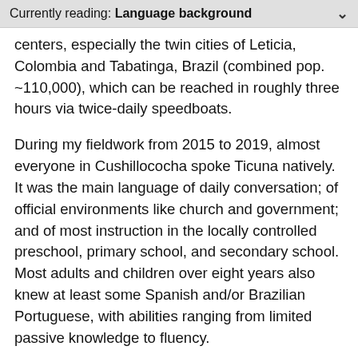Currently reading: Language background
centers, especially the twin cities of Leticia, Colombia and Tabatinga, Brazil (combined pop. ~110,000), which can be reached in roughly three hours via twice-daily speedboats.
During my fieldwork from 2015 to 2019, almost everyone in Cushillococha spoke Ticuna natively. It was the main language of daily conversation; of official environments like church and government; and of most instruction in the locally controlled preschool, primary school, and secondary school. Most adults and children over eight years also knew at least some Spanish and/or Brazilian Portuguese, with abilities ranging from limited passive knowledge to fluency.
Compared to most of rural Amazonia, Cushillococha had a relatively high level of economic development, with